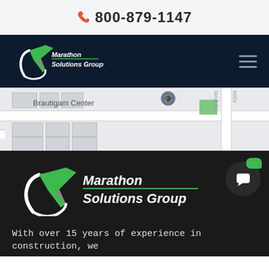800-879-1147
[Figure (logo): Marathon Solutions Group logo on dark navy navigation bar with hamburger menu icon]
[Figure (map): Google Maps snapshot showing Brautigam Center location with map pin]
[Figure (logo): Marathon Solutions Group large logo on dark footer background]
With over 15 years of experience in construction, we